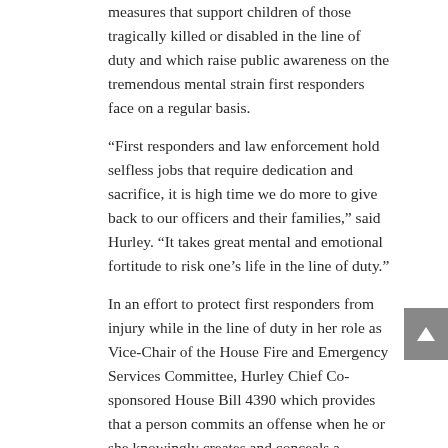measures that support children of those tragically killed or disabled in the line of duty and which raise public awareness on the tremendous mental strain first responders face on a regular basis.
“First responders and law enforcement hold selfless jobs that require dedication and sacrifice, it is high time we do more to give back to our officers and their families,” said Hurley. “It takes great mental and emotional fortitude to risk one’s life in the line of duty.”
In an effort to protect first responders from injury while in the line of duty in her role as Vice-Chair of the House Fire and Emergency Services Committee, Hurley Chief Co-sponsored House Bill 4390 which provides that a person commits an offense when he or she knowingly creates and conceals a dangerous condition in a commercial property, and it is found to be the primary cause of the death or serious bodily injury of a first responder in the course of his or her official duties. House Bill 4390 passed the House unanimously and is currently pending in the Senate.
Hurley also signed on as Chief Co-Sponsor to House Resolution 809 which aims to increase workplace safety for first responders and law enforcement officers when coming into contact with Fentanyl and its analogues. Because Fentanyl potency and affinity for absorption into the human body poses real danger to those that come in contact with it, the Resolution